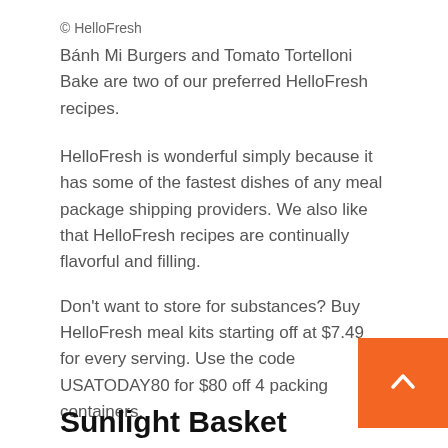© HelloFresh
Bánh Mi Burgers and Tomato Tortelloni Bake are two of our preferred HelloFresh recipes.
HelloFresh is wonderful simply because it has some of the fastest dishes of any meal package shipping providers. We also like that HelloFresh recipes are continually flavorful and filling.
Don't want to store for substances? Buy HelloFresh meal kits starting off at $7.49 for every serving. Use the code USATODAY80 for $80 off 4 packing containers.
Sunlight Basket